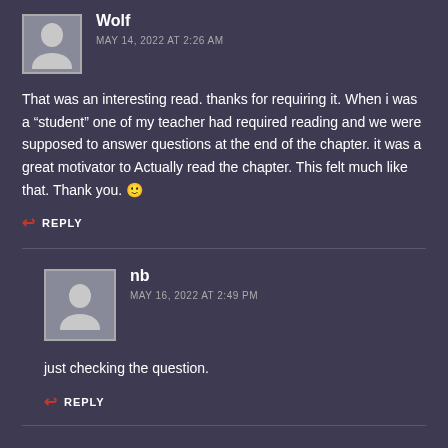[Figure (illustration): Gray avatar placeholder image for user Wolf]
Wolf
MAY 14, 2022 AT 2:26 AM
That was an interesting read. thanks for requiring it. When i was a “student” one of my teacher had required reading and we were supposed to answer questions at the end of the chapter. it was a great motivator to Actually read the chapter. This felt much like that. Thank you. 🙂
REPLY
[Figure (illustration): Gray avatar placeholder image for user nb]
nb
MAY 16, 2022 AT 2:49 PM
just checking the question.
REPLY